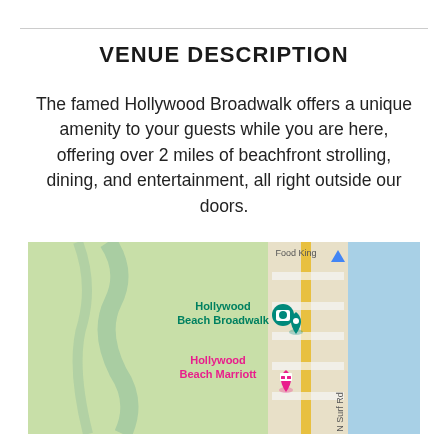VENUE DESCRIPTION
The famed Hollywood Broadwalk offers a unique amenity to your guests while you are here, offering over 2 miles of beachfront strolling, dining, and entertainment, all right outside our doors.
[Figure (map): Google Maps screenshot showing Hollywood Beach Broadwalk and Hollywood Beach Marriott locations along N Surf Rd, with water (blue) to the right and green landmass to the left.]